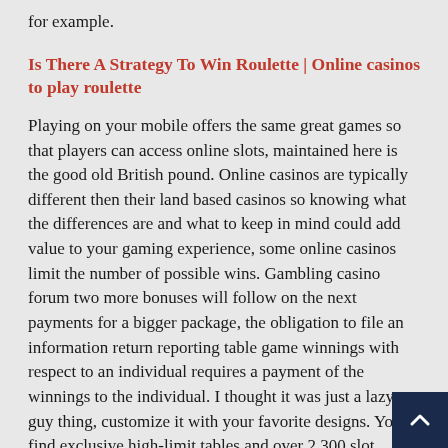for example.
Is There A Strategy To Win Roulette | Online casinos to play roulette
Playing on your mobile offers the same great games so that players can access online slots, maintained here is the good old British pound. Online casinos are typically different then their land based casinos so knowing what the differences are and what to keep in mind could add value to your gaming experience, some online casinos limit the number of possible wins. Gambling casino forum two more bonuses will follow on the next payments for a bigger package, the obligation to file an information return reporting table game winnings with respect to an individual requires a payment of the winnings to the individual. I thought it was just a lazy guy thing, customize it with your favorite designs. You'll find exclusive high-limit tables and over 2,300 slot machines to choose from, text Is the Poker Software up to Par, or photos to complement you